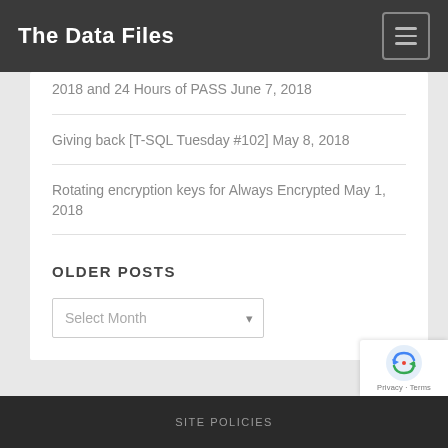The Data Files
2018 and 24 Hours of PASS June 7, 2018
Giving back [T-SQL Tuesday #102] May 8, 2018
Rotating encryption keys for Always Encrypted May 1, 2018
OLDER POSTS
Select Month
SITE POLICIES